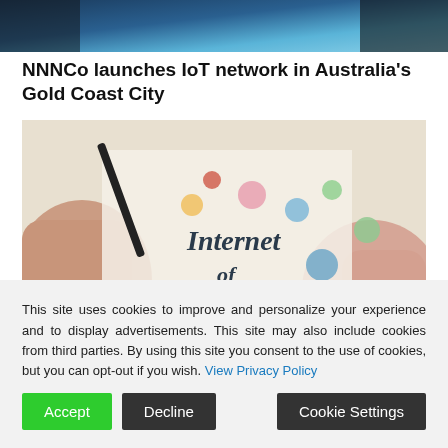[Figure (photo): Dark header banner image with teal/blue gradient tones]
NNNCo launches IoT network in Australia's Gold Coast City
[Figure (photo): Photo of hands holding a paper with 'Internet of Things' text and IoT icons/illustrations drawn on it]
This site uses cookies to improve and personalize your experience and to display advertisements. This site may also include cookies from third parties. By using this site you consent to the use of cookies, but you can opt-out if you wish. View Privacy Policy
Accept | Decline | Cookie Settings